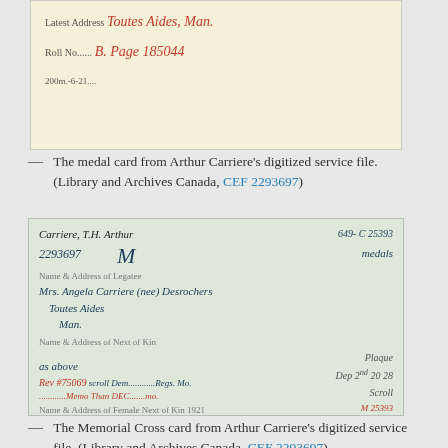[Figure (photo): Medal card from Arthur Carriere's digitized service file, showing handwritten entries in red ink for latest address (Toutes Aides, Man.) and roll number (B. Page 185044), with printed form text and 200m.-6-21 at bottom.]
— The medal card from Arthur Carriere's digitized service file. (Library and Archives Canada, CEF 2293697)
[Figure (photo): Memorial Cross card from Arthur Carriere's digitized service file, showing handwritten entries including name Carriere T.H. Arthur, number 2293697, name and address of legatee Mrs. Angela Carriere (nee) Desrochers, Toutes Aides, Man., and various other fields including Plaque, Scroll, Memorial Cross, and date 1921.]
— The Memorial Cross card from Arthur Carriere's digitized service file. (Library and Archives Canada, CEF 2293697)